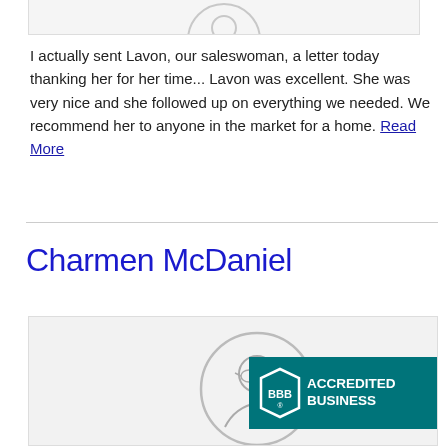[Figure (illustration): Partial circular avatar/profile icon at top of card, cut off at top of page]
I actually sent Lavon, our saleswoman, a letter today thanking her for her time... Lavon was excellent. She was very nice and she followed up on everything we needed. We recommend her to anyone in the market for a home. Read More
Charmen McDaniel
[Figure (illustration): Profile avatar circle icon (greyed out person figure) on light grey card background, with BBB Accredited Business badge to the right]